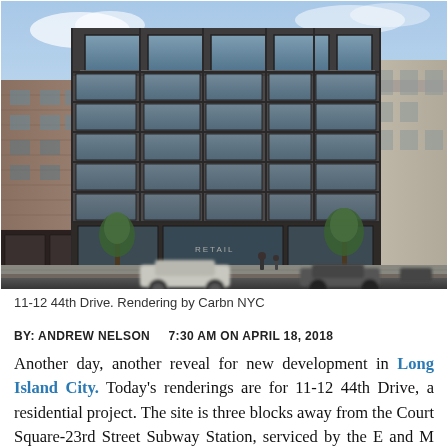[Figure (photo): Architectural rendering of 11-12 44th Drive, a multi-story residential building with large glass windows and a modern facade, street-level view with trees, cars and pedestrians, neighboring brick buildings visible. Rendering by Carbn NYC.]
11-12 44th Drive. Rendering by Carbn NYC
BY: ANDREW NELSON   7:30 AM ON APRIL 18, 2018
Another day, another reveal for new development in Long Island City. Today's renderings are for 11-12 44th Drive, a residential project. The site is three blocks away from the Court Square-23rd Street Subway Station, serviced by the E and M trains. The waterfront Gantry Plaza State Park is also seven